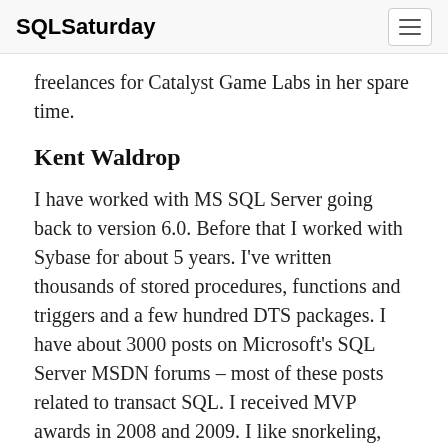SQLSaturday
freelances for Catalyst Game Labs in her spare time.
Kent Waldrop
I have worked with MS SQL Server going back to version 6.0. Before that I worked with Sybase for about 5 years. I've written thousands of stored procedures, functions and triggers and a few hundred DTS packages. I have about 3000 posts on Microsoft's SQL Server MSDN forums – most of these posts related to transact SQL. I received MVP awards in 2008 and 2009. I like snorkeling, swimming, bicycling, ice skating and bringing out the best of people.